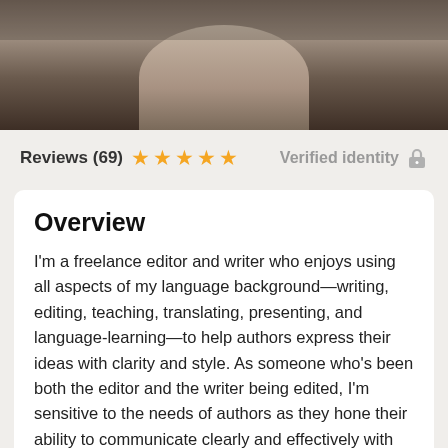[Figure (photo): Hero banner image showing a dark brown/wood-toned background with a silhouette or blurred figure in the center]
Reviews (69) ★★★★★ Verified identity 🔒
Overview
I'm a freelance editor and writer who enjoys using all aspects of my language background—writing, editing, teaching, translating, presenting, and language-learning—to help authors express their ideas with clarity and style. As someone who's been both the editor and the writer being edited, I'm sensitive to the needs of authors as they hone their ability to communicate clearly and effectively with their target audiences, whether that involves creating accessible and thought-